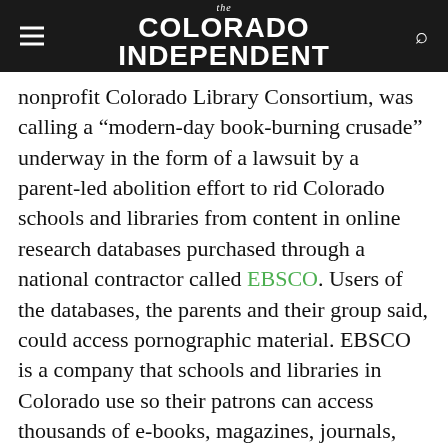The Colorado Independent
nonprofit Colorado Library Consortium, was calling a “modern-day book-burning crusade” underway in the form of a lawsuit by a parent-led abolition effort to rid Colorado schools and libraries from content in online research databases purchased through a national contractor called EBSCO. Users of the databases, the parents and their group said, could access pornographic material. EBSCO is a company that schools and libraries in Colorado use so their patrons can access thousands of e-books, magazines, journals, and other printed material, and the company has said it “does not include pornographic titles in its databases, embed pornographic content in its databases, or receive revenue for advertising from any organization.” Multiple Colorado school districts have scrapped